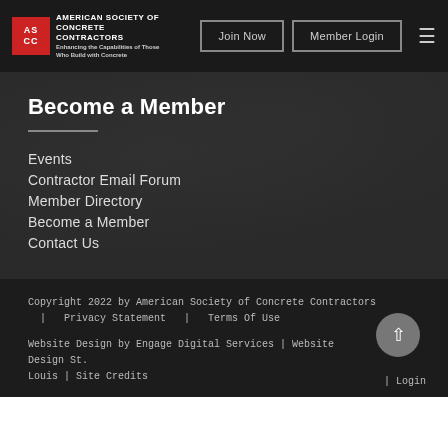ASCC American Society of Concrete Contractors | Join Now | Member Login
Become a Member
Events
Contractor Email Forum
Member Directory
Become a Member
Contact Us
Copyright 2022 by American Society of Concrete Contractors | Privacy Statement | Terms Of Use
Website Design by Engage Digital Services | Website Design St. Louis | Site Credits
| Login